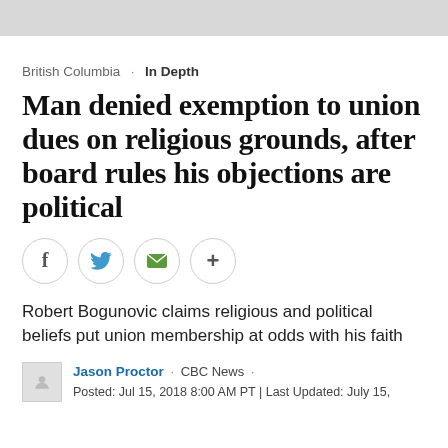British Columbia · In Depth
Man denied exemption to union dues on religious grounds, after board rules his objections are political
[Figure (other): Social share buttons: Facebook, Twitter, Email, More]
Robert Bogunovic claims religious and political beliefs put union membership at odds with his faith
Jason Proctor · CBC News · Posted: Jul 15, 2018 8:00 AM PT | Last Updated: July 15,